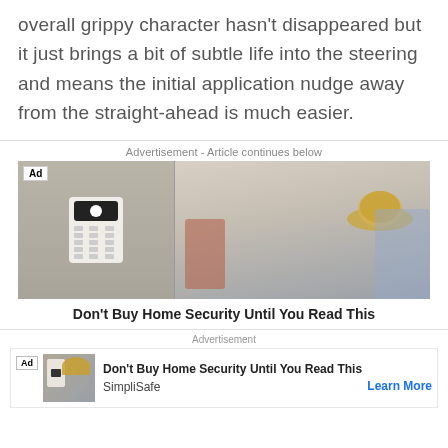overall grippy character hasn't disappeared but it just brings a bit of subtle life into the steering and means the initial application nudge away from the straight-ahead is much easier.
Advertisement - Article continues below
[Figure (photo): Advertisement image showing a home security keypad mounted on a wall beside a wooden coat rack with a straw hat, keys, red bag, and blue jacket hanging from hooks. 'Ad' badge in top left corner.]
Don't Buy Home Security Until You Read This
Advertisement
[Figure (photo): Small thumbnail of the same home security advertisement image with 'Ad' badge.]
Don't Buy Home Security Until You Read This
SimpliSafe
Learn More